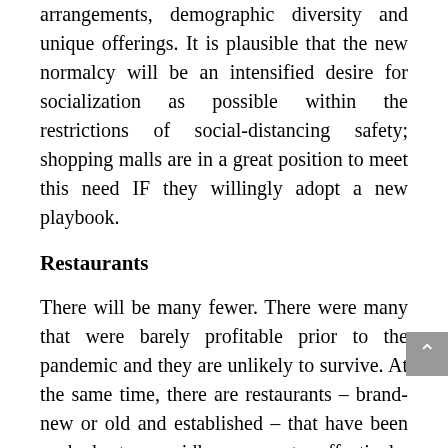arrangements, demographic diversity and unique offerings. It is plausible that the new normalcy will be an intensified desire for socialization as possible within the restrictions of social-distancing safety; shopping malls are in a great position to meet this need IF they willingly adopt a new playbook.
Restaurants
There will be many fewer. There were many that were barely profitable prior to the pandemic and they are unlikely to survive. At the same time, there are restaurants – brand-new or old and established – that have been pushed to rapidly connect effectively, emotionally, with their customers and who will come out of this with new ideas to improve profitability for the long